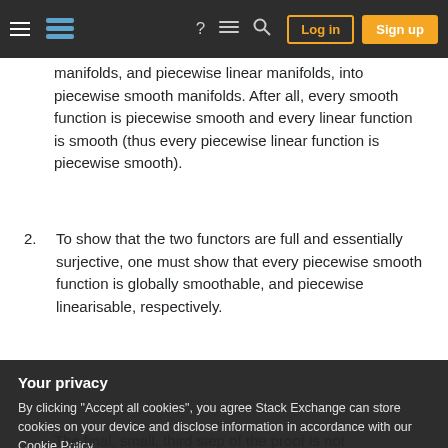Stack Exchange navigation bar with hamburger menu, logo, help, chat, search, Log in, Sign up
manifolds, and piecewise linear manifolds, into piecewise smooth manifolds. After all, every smooth function is piecewise smooth and every linear function is smooth (thus every piecewise linear function is piecewise smooth).
2. To show that the two functors are full and essentially surjective, one must show that every piecewise smooth function is globally smoothable, and piecewise linearisable, respectively.
Your privacy
By clicking "Accept all cookies", you agree Stack Exchange can store cookies on your device and disclose information in accordance with our Cookie Policy.
The final, small, third step of the proof is not